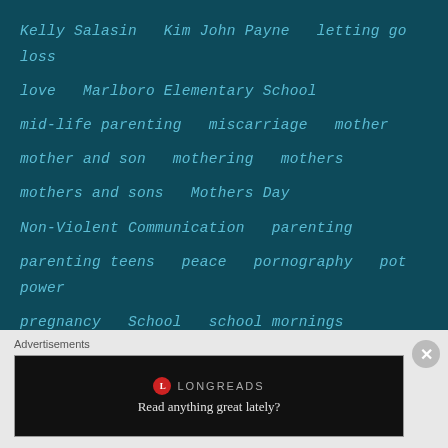Kelly Salasin   Kim John Payne   letting go   loss
love   Marlboro Elementary School
mid-life parenting   miscarriage   mother
mother and son   mothering   mothers
mothers and sons   Mothers Day
Non-Violent Communication   parenting
parenting teens   peace   pornography   pot   power
pregnancy   School   school mornings   Sexuality
Simplicity Parenting   snow   son   sons
Springfield Massachusetts   surrender   teen
Advertisements
[Figure (screenshot): Longreads advertisement banner: logo circle with L, brand name LONGREADS, tagline 'Read anything great lately?']